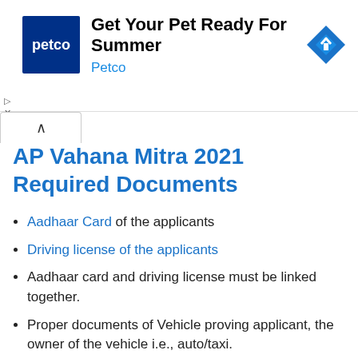[Figure (infographic): Petco advertisement banner: Petco logo (dark blue square with white 'petco' text), headline 'Get Your Pet Ready For Summer', subtext 'Petco' in blue, and a blue diamond navigation icon on the right.]
AP Vahana Mitra 2021 Required Documents
Aadhaar Card of the applicants
Driving license of the applicants
Aadhaar card and driving license must be linked together.
Proper documents of Vehicle proving applicant, the owner of the vehicle i.e., auto/taxi.
Certificate of Income stating that applicant is below the poverty line
Applicant must have...